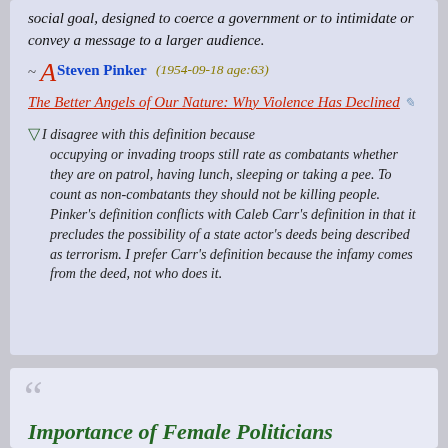social goal, designed to coerce a government or to intimidate or convey a message to a larger audience.
~ A Steven Pinker (1954-09-18 age:63) The Better Angels of Our Nature: Why Violence Has Declined
∇I disagree with this definition because occupying or invading troops still rate as combatants whether they are on patrol, having lunch, sleeping or taking a pee. To count as non-combatants they should not be killing people. Pinker's definition conflicts with Caleb Carr's definition in that it precludes the possibility of a state actor's deeds being described as terrorism. I prefer Carr's definition because the infamy comes from the deed, not who does it.
Importance of Female Politicians